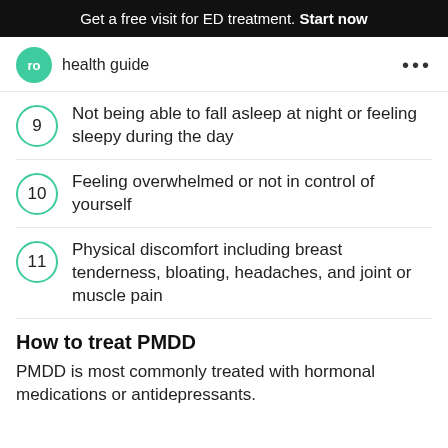Get a free visit for ED treatment. Start now
ro  health guide
9 Not being able to fall asleep at night or feeling sleepy during the day
10 Feeling overwhelmed or not in control of yourself
11 Physical discomfort including breast tenderness, bloating, headaches, and joint or muscle pain
How to treat PMDD
PMDD is most commonly treated with hormonal medications or antidepressants.